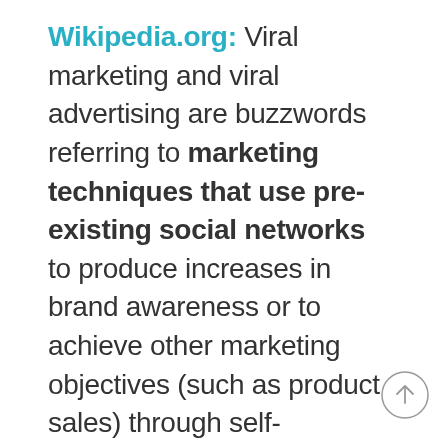Wikipedia.org: Viral marketing and viral advertising are buzzwords referring to marketing techniques that use pre-existing social networks to produce increases in brand awareness or to achieve other marketing objectives (such as product sales) through self-replicating viral processes, analogous to the spread of virus or computer viruses. It can be word-of-mouth delivered or enhanced by the network effects of the Internet...